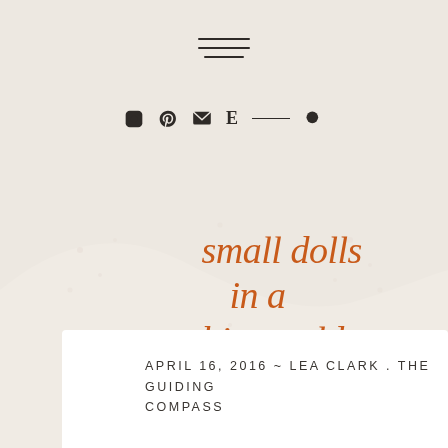[Figure (logo): Blog header with hamburger menu icon, social media navigation icons (Instagram, Pinterest, email, Etsy), a horizontal line and search icon, a wavy beige background shape, and the handwritten blog logo 'small dolls in a big world' in orange cursive text with decorative dot accents]
APRIL 16, 2016 ~ LEA CLARK .  THE GUIDING COMPASS